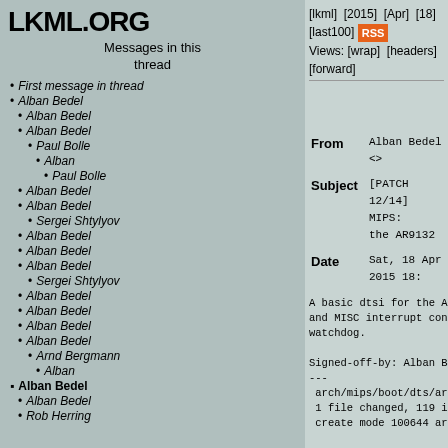LKML.ORG
Messages in this thread
First message in thread
Alban Bedel
Alban Bedel
Alban Bedel
Paul Bolle
Alban
Paul Bolle
Alban Bedel
Alban Bedel
Sergei Shtylyov
Alban Bedel
Alban Bedel
Alban Bedel
Sergei Shtylyov
Alban Bedel
Alban Bedel
Alban Bedel
Alban Bedel
Arnd Bergmann
Alban
Alban Bedel
Alban Bedel
Rob Herring
[lkml] [2015] [Apr] [18] [last100] RSS Views: [wrap] [headers] [forward]
From: Alban Bedel <>
Subject: [PATCH 12/14] MIPS: the AR9132
Date: Sat, 18 Apr 2015 18:

A basic dtsi for the AR9132 with sup and MISC interrupt controller, GPIO watchdog.

Signed-off-by: Alban Bedel <albeu@fr
---
 arch/mips/boot/dts/ar9132.dtsi | 11
 1 file changed, 119 insertions(+)
 create mode 100644 arch/mips/boot/d

diff --git a/arch/mips/boot/dts/ar91
new file mode 100644
index 0000000..ede58cd